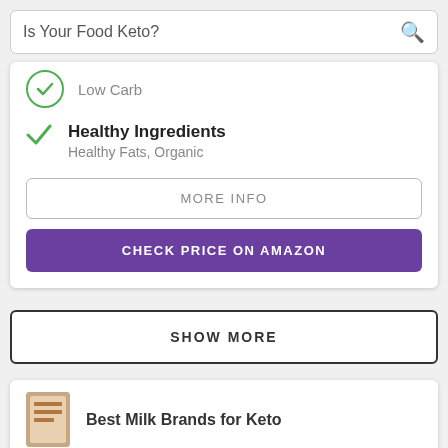Is Your Food Keto?
Low Carb
Healthy Ingredients
Healthy Fats, Organic
MORE INFO
CHECK PRICE ON AMAZON
SHOW MORE
Best Milk Brands for Keto